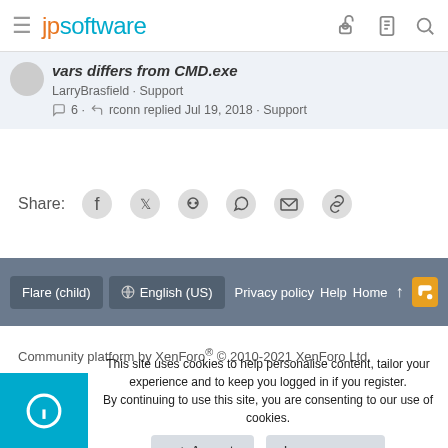jpsoftware
vars differs from CMD.exe
LarryBrasfield · Support
6 · rconn replied Jul 19, 2018 · Support
Share:
Flare (child) | English (US) | Privacy policy | Help | Home
Community platform by XenForo® © 2010-2021 XenForo Ltd.
This site uses cookies to help personalise content, tailor your experience and to keep you logged in if you register. By continuing to use this site, you are consenting to our use of cookies.